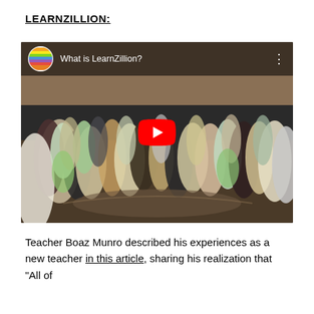LEARNZILLION:
[Figure (screenshot): YouTube video thumbnail showing 'What is LearnZillion?' with a crowd of people in a conference hall. A large red YouTube play button is centered on the image. The LearnZillion rainbow logo appears in the top left.]
Teacher Boaz Munro described his experiences as a new teacher in this article, sharing his realization that "All of